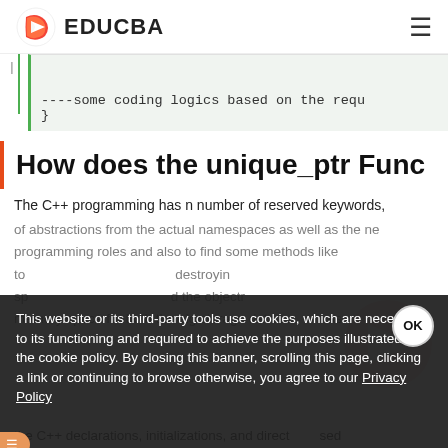EDUCBA
----some coding logics based on the requ
}
How does the unique_ptr Func
The C++ programming has n number of reserved keywords,
of abstractions from the actual namespaces as well as the ne
programming roles and also to find some methods like
to destroying
d the objectr
memory space for both the big storage data t... as
This website or its third-party tools use cookies, which are necessary to its functioning and required to achieve the purposes illustrated in the cookie policy. By closing this banner, scrolling this page, clicking a link or continuing to browse otherwise, you agree to our Privacy Policy
the C++ declarations, initializations, and direct sed